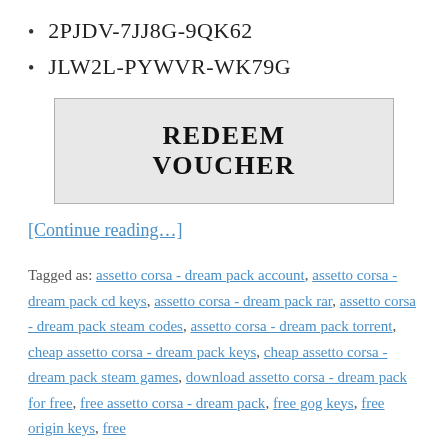2PJDV-7JJ8G-9QK62
JLW2L-PYWVR-WK79G
[Figure (other): REDEEM VOUCHER button]
[Continue reading…]
Tagged as: assetto corsa - dream pack account, assetto corsa - dream pack cd keys, assetto corsa - dream pack rar, assetto corsa - dream pack steam codes, assetto corsa - dream pack torrent, cheap assetto corsa - dream pack keys, cheap assetto corsa - dream pack steam games, download assetto corsa - dream pack for free, free assetto corsa - dream pack, free gog keys, free origin keys, free